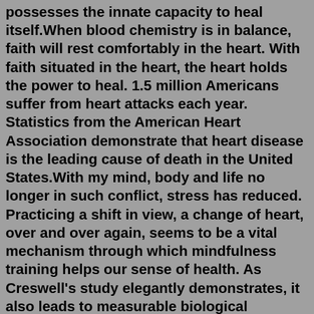possesses the innate capacity to heal itself.When blood chemistry is in balance, faith will rest comfortably in the heart. With faith situated in the heart, the heart holds the power to heal. 1.5 million Americans suffer from heart attacks each year. Statistics from the American Heart Association demonstrate that heart disease is the leading cause of death in the United States.With my mind, body and life no longer in such conflict, stress has reduced. Practicing a shift in view, a change of heart, over and over again, seems to be a vital mechanism through which mindfulness training helps our sense of health. As Creswell's study elegantly demonstrates, it also leads to measurable biological shifts.Healing Frequencies for Mindfulness. Let the gentle melody calm and soothe your emotions, reconnecting you with Nature. Let the pure, ethereal music bring you back to experiencing the original beauty of life. Relax your body and mind, purify your soul. Let your thoughts roam freely and your creativity flows abundantly. And we too can use them in prayer today. The following are a few of the more